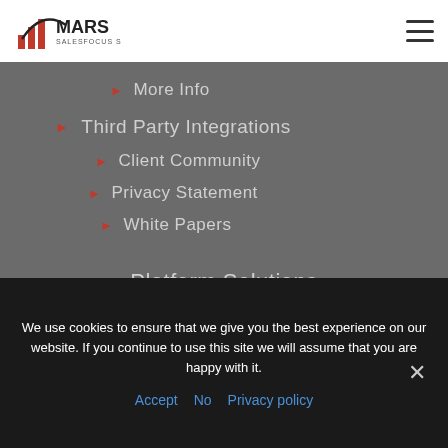MARS SALESFOCUS SOLUTIONS
More Info
Third Party Integrations
Client Community
Privacy Statement
White Papers
Platform Solutions
We use cookies to ensure that we give you the best experience on our website. If you continue to use this site we will assume that you are happy with it.
Accept   No   Privacy policy